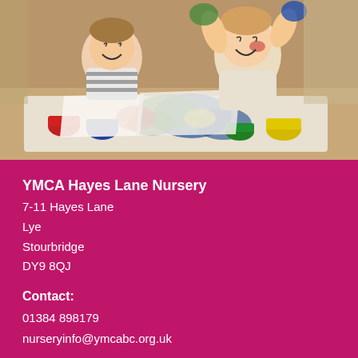[Figure (photo): Two young children laughing and smiling with paint-covered hands and papers with finger paintings on a table, colorful paint pots visible]
YMCA Hayes Lane Nursery
7-11 Hayes Lane
Lye
Stourbridge
DY9 8QJ
Contact:
01384 898179
nurseryinfo@ymcabc.org.uk